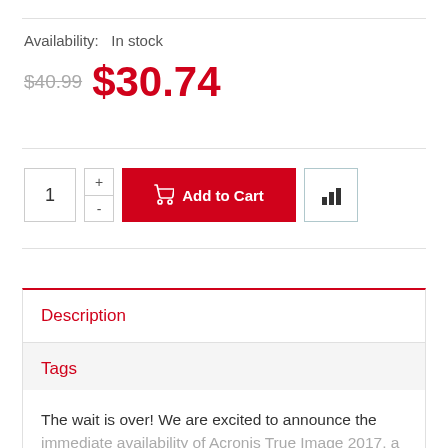Availability:  In stock
$40.99  $30.74
1  +  -  Add to Cart
Description
Tags
Reviews
The wait is over! We are excited to announce the immediate availability of Acronis True Image 2017, a